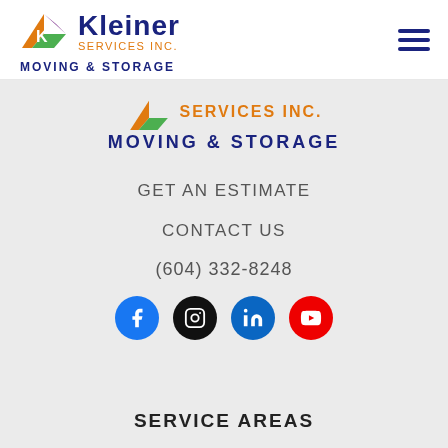[Figure (logo): Kleiner Services Inc. Moving & Storage logo in header — triangle/arrow icon with K, text Kleiner in dark blue, Services Inc. in orange, Moving & Storage in dark blue bold]
[Figure (logo): Kleiner Services Inc. Moving & Storage logo in main content banner area — partial icon in orange, SERVICES INC. in orange, MOVING & STORAGE in dark blue bold]
GET AN ESTIMATE
CONTACT US
(604) 332-8248
[Figure (infographic): Four social media icon circles: Facebook (blue), Instagram (black), LinkedIn (blue), YouTube (red)]
SERVICE AREAS